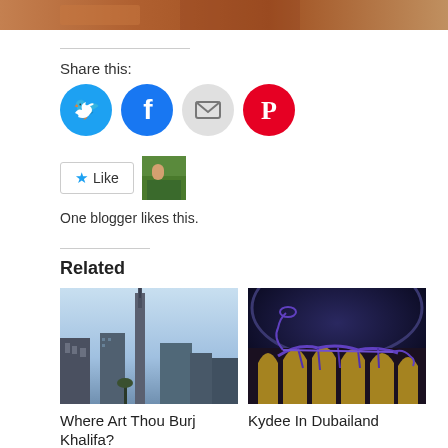[Figure (photo): Partial top strip of a photo, warm brown tones, appears to be camels or similar]
Share this:
[Figure (infographic): Four social sharing buttons: Twitter (blue circle), Facebook (dark blue circle), Email (grey circle), Pinterest (red circle)]
[Figure (infographic): Like button with star icon and a blogger avatar thumbnail. Text: One blogger likes this.]
One blogger likes this.
Related
[Figure (photo): Cityscape with tall skyscrapers including a very tall tower (Burj Khalifa) against a light blue sky]
[Figure (photo): Interior of an ornate domed building with arches, purple-lit dinosaur skeleton display, yellow-lit arches]
Where Art Thou Burj Khalifa?
March 3, 2015
Kydee In Dubailand
March 3, 2015
In "The Middle East"